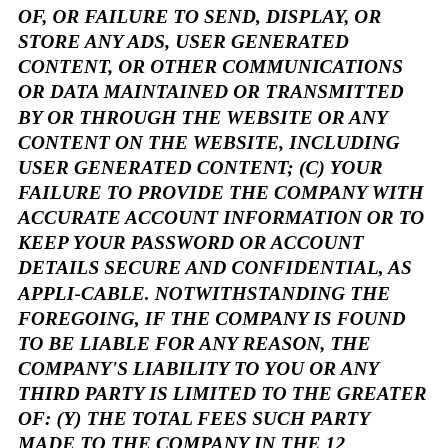OF, OR FAILURE TO SEND, DISPLAY, OR STORE ANY ADS, USER GENERATED CONTENT, OR OTHER COMMUNICATIONS OR DATA MAINTAINED OR TRANSMITTED BY OR THROUGH THE WEBSITE OR ANY CONTENT ON THE WEBSITE, INCLUDING USER GENERATED CONTENT; (C) YOUR FAILURE TO PROVIDE THE COMPANY WITH ACCURATE ACCOUNT INFORMATION OR TO KEEP YOUR PASSWORD OR ACCOUNT DETAILS SECURE AND CONFIDENTIAL, AS APPLI-CABLE. NOTWITHSTANDING THE FOREGOING, IF THE COMPANY IS FOUND TO BE LIABLE FOR ANY REASON, THE COMPANY'S LIABILITY TO YOU OR ANY THIRD PARTY IS LIMITED TO THE GREATER OF: (Y) THE TOTAL FEES SUCH PARTY MADE TO THE COMPANY IN THE 12 MONTHS PRIOR TO THE ACTION GIVING RISE TO THE LIABILITY; AND (2) $150 CAD.